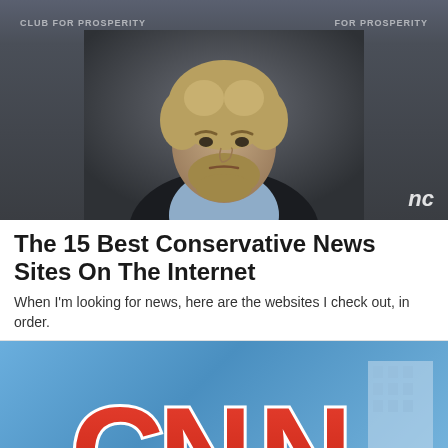[Figure (photo): A middle-aged man with curly blond hair and a beard wearing a dark blazer over a light blue shirt, looking stern. Background shows a banner with partially visible text. Bottom right corner shows 'nc' text.]
The 15 Best Conservative News Sites On The Internet
When I'm looking for news, here are the websites I check out, in order.
[Figure (photo): Close-up photo of large red CNN logo letters against a blue sky background with a building visible in the right background.]